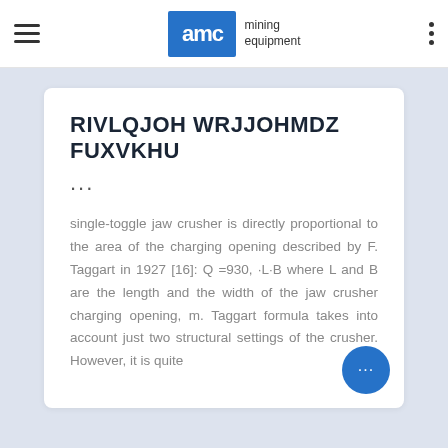AMC mining equipment
RIVLQJOH WRJJOHMDZ FUXVKHU
...

single-toggle jaw crusher is directly proportional to the area of the charging opening described by F. Taggart in 1927 [16]: Q =930, ·L·B where L and B are the length and the width of the jaw crusher charging opening, m. Taggart formula takes into account just two structural settings of the crusher. However, it is quite